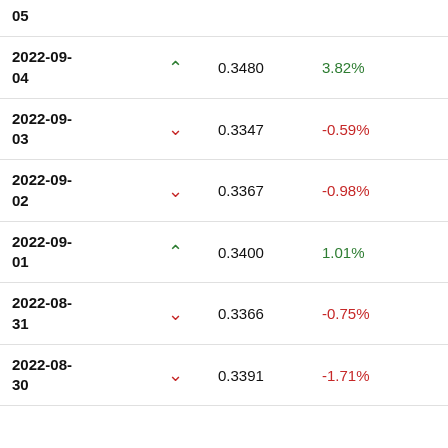| Date |  | Price | Change% | Value |
| --- | --- | --- | --- | --- |
| 05 |  |  |  |  |
| 2022-09-04 | ▲ | 0.3480 | 3.82% | 2.8733 |
| 2022-09-03 | ▼ | 0.3347 | -0.59% | 2.9874 |
| 2022-09-02 | ▼ | 0.3367 | -0.98% | 2.9699 |
| 2022-09-01 | ▲ | 0.3400 | 1.01% | 2.9409 |
| 2022-08-31 | ▼ | 0.3366 | -0.75% | 2.9708 |
| 2022-08-30 | ▼ | 0.3391 | -1.71% | 2.9487 |